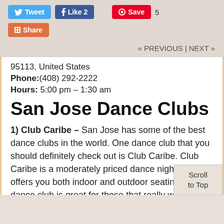[Figure (screenshot): Social media sharing buttons: Tweet (blue), Like 2 (Facebook blue), Save (Pinterest red) with count 5, Share (orange/red)]
« PREVIOUS |  NEXT »
95113, United States
Phone:(408) 292-2222
Hours: 5:00 pm – 1:30 am
San Jose Dance Clubs
1) Club Caribe – San Jose has some of the best dance clubs in the world. One dance club that you should definitely check out is Club Caribe. Club Caribe is a moderately priced dance nightclub that offers you both indoor and outdoor seating. This dance club is great for those that really want to dance. Come to this club with your dancing shoes as the resident Dj's will be spinning best dance music around. The spac
Scroll to Top